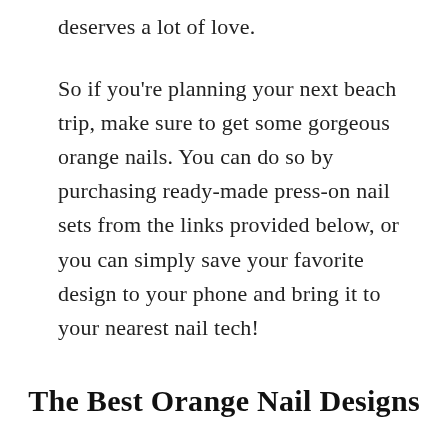deserves a lot of love.
So if you're planning your next beach trip, make sure to get some gorgeous orange nails. You can do so by purchasing ready-made press-on nail sets from the links provided below, or you can simply save your favorite design to your phone and bring it to your nearest nail tech!
The Best Orange Nail Designs